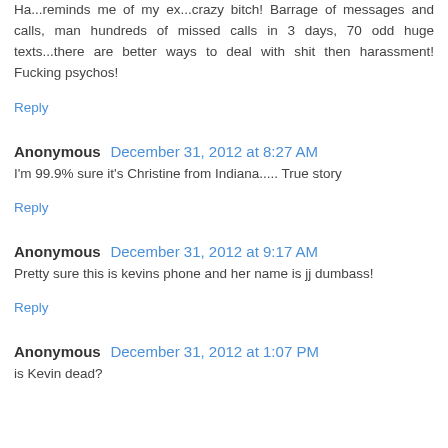Ha...reminds me of my ex...crazy bitch! Barrage of messages and calls, man hundreds of missed calls in 3 days, 70 odd huge texts...there are better ways to deal with shit then harassment! Fucking psychos!
Reply
Anonymous December 31, 2012 at 8:27 AM
I'm 99.9% sure it's Christine from Indiana..... True story
Reply
Anonymous December 31, 2012 at 9:17 AM
Pretty sure this is kevins phone and her name is jj dumbass!
Reply
Anonymous December 31, 2012 at 1:07 PM
is Kevin dead?